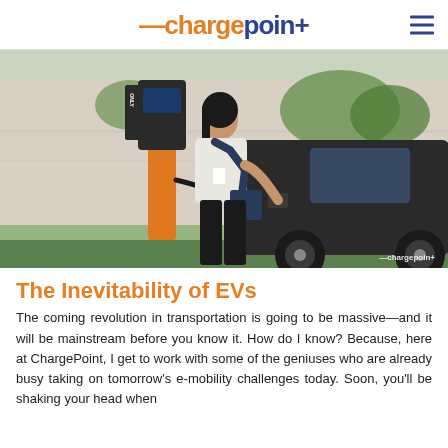ChargePoint
[Figure (photo): A woman plugging an EV charging cable into a dark-colored electric vehicle at an orange ChargePoint charging station. The ChargePoint watermark appears in the bottom right corner of the image.]
The Inevitability of EVs
The coming revolution in transportation is going to be massive—and it will be mainstream before you know it. How do I know? Because, here at ChargePoint, I get to work with some of the geniuses who are already busy taking on tomorrow's e-mobility challenges today. Soon, you'll be shaking your head when